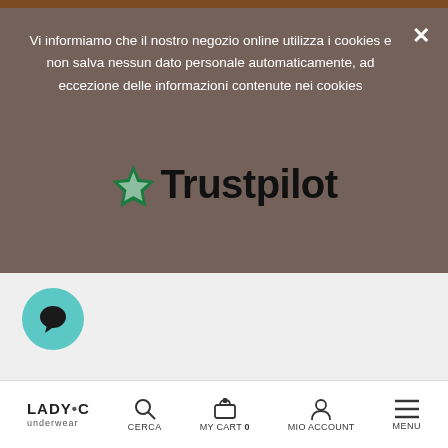Vi informiamo che il nostro negozio online utilizza i cookies e non salva nessun dato personale automaticamente, ad eccezione delle informazioni contenute nei cookies
[Figure (logo): Trustpilot logo with green star and bold black text]
[Figure (illustration): Teal circular chat bubble button icon]
[Figure (illustration): Download on the App Store button (black, rounded)]
[Figure (illustration): Get it on Google Play button (black, rounded)]
LADY•C underwear | CERCA | MY CART 0 | MIO ACCOUNT | MENU